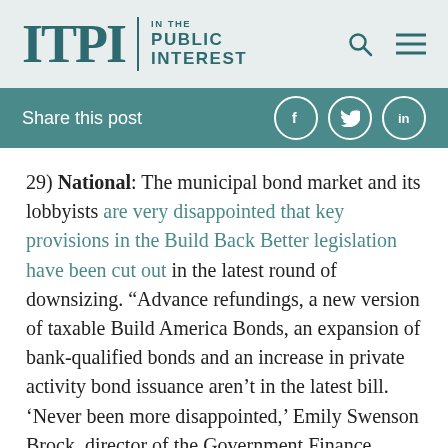ITPI | IN THE PUBLIC INTEREST
Share this post
29) National: The municipal bond market and its lobbyists are very disappointed that key provisions in the Build Back Better legislation have been cut out in the latest round of downsizing. “Advance refundings, a new version of taxable Build America Bonds, an expansion of bank-qualified bonds and an increase in private activity bond issuance aren’t in the latest bill. ‘Never been more disappointed,’ Emily Swenson Brock, director of the Government Finance Officers Association’s